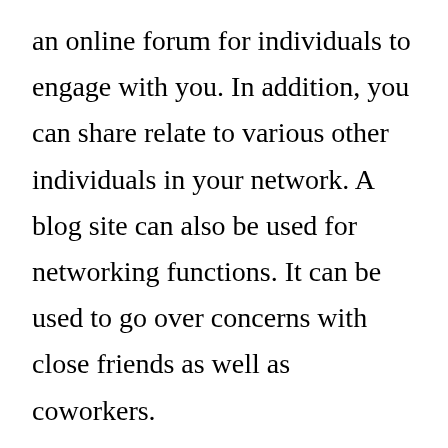an online forum for individuals to engage with you. In addition, you can share relate to various other individuals in your network. A blog site can also be used for networking functions. It can be used to go over concerns with close friends as well as coworkers.
A blog site can be utilized to share information. A blog can be made use of to talk with others. A blog site is a kind of social networking. You can construct your neighborhood by connecting with other